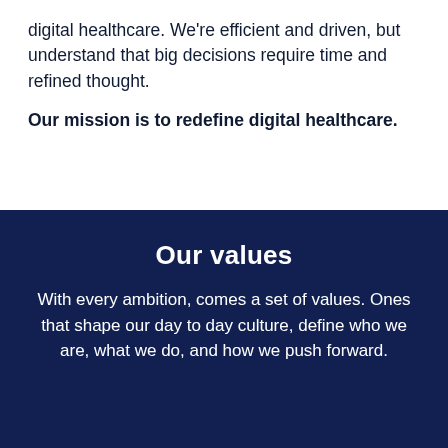digital healthcare. We're efficient and driven, but understand that big decisions require time and refined thought.
Our mission is to redefine digital healthcare.
Our values
With every ambition, comes a set of values. Ones that shape our day to day culture, define who we are, what we do, and how we push forward.